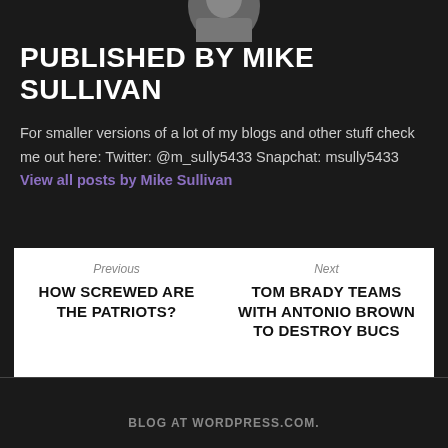[Figure (photo): Partial profile photo of Mike Sullivan at the top of the page]
PUBLISHED BY MIKE SULLIVAN
For smaller versions of a lot of my blogs and other stuff check me out here: Twitter: @m_sully5433 Snapchat: msully5433 View all posts by Mike Sullivan
Previous
HOW SCREWED ARE THE PATRIOTS?
Next
TOM BRADY TEAMS WITH ANTONIO BROWN TO DESTROY BUCS
BLOG AT WORDPRESS.COM.